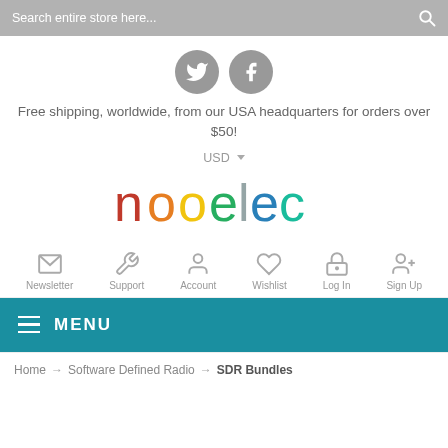Search entire store here...
[Figure (logo): Twitter and Facebook social media icons (grey circles)]
Free shipping, worldwide, from our USA headquarters for orders over $50!
USD
[Figure (logo): Nooelec company logo in rainbow/multicolor letters]
[Figure (infographic): Navigation icons row: Newsletter (envelope), Support (wrench), Account (person), Wishlist (heart), Log In (padlock), Sign Up (person+)]
Newsletter  Support  Account  Wishlist  Log In  Sign Up
MENU
Home → Software Defined Radio → SDR Bundles